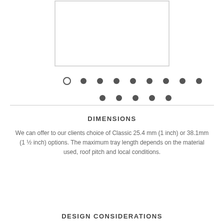[Figure (schematic): Technical diagram showing a cross-section/component with dot pattern indicators arranged in two rows below the component outline box]
DIMENSIONS
We can offer to our clients choice of Classic 25.4 mm (1 inch) or 38.1mm (1 ½ inch) options. The maximum tray length depends on the material used, roof pitch and local conditions.
DESIGN CONSIDERATIONS